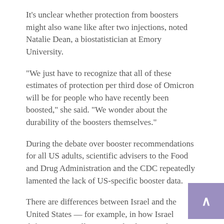It's unclear whether protection from boosters might also wane like after two injections, noted Natalie Dean, a biostatistician at Emory University.
"We just have to recognize that all of these estimates of protection per third dose of Omicron will be for people who have recently been boosted," she said. "We wonder about the durability of the boosters themselves."
During the debate over booster recommendations for all US adults, scientific advisers to the Food and Drug Administration and the CDC repeatedly lamented the lack of US-specific booster data.
There are differences between Israel and the United States — for example, in how Israel defines serious illnesses — that have made it difficult to interpret the relevance of Israeli data to Americans, they said.